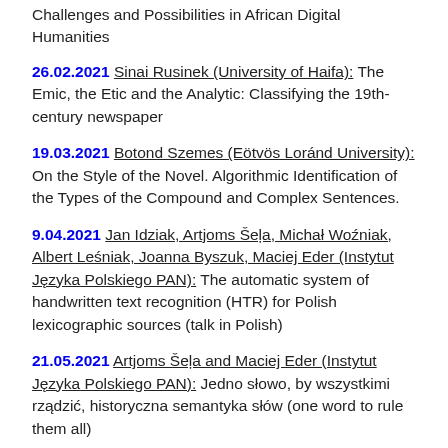Challenges and Possibilities in African Digital Humanities
26.02.2021 Sinai Rusinek (University of Haifa): The Emic, the Etic and the Analytic: Classifying the 19th-century newspaper
19.03.2021 Botond Szemes (Eötvös Loránd University): On the Style of the Novel. Algorithmic Identification of the Types of the Compound and Complex Sentences.
9.04.2021 Jan Idziak, Artjoms Šeļa, Michał Woźniak, Albert Leśniak, Joanna Byszuk, Maciej Eder (Instytut Języka Polskiego PAN): The automatic system of handwritten text recognition (HTR) for Polish lexicographic sources (talk in Polish)
21.05.2021 Artjoms Šeļa and Maciej Eder (Instytut Języka Polskiego PAN): Jedno słowo, by wszystkimi rządzić, historyczna semantyka słów (one word to rule them all)